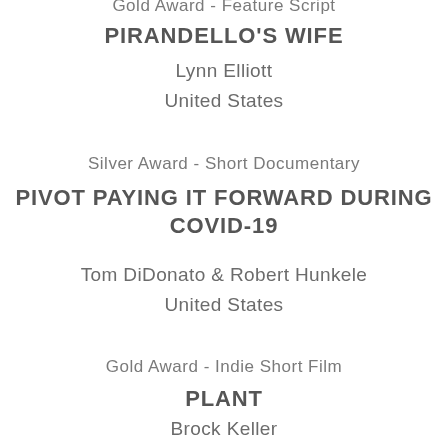Gold Award - Feature Script
PIRANDELLO'S WIFE
Lynn Elliott
United States
Silver Award - Short Documentary
PIVOT PAYING IT FORWARD DURING COVID-19
Tom DiDonato & Robert Hunkele
United States
Gold Award - Indie Short Film
PLANT
Brock Keller